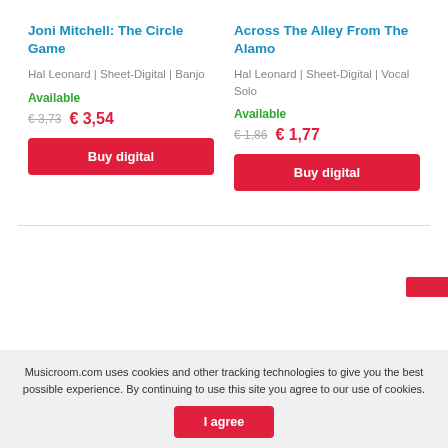Joni Mitchell: The Circle Game
Hal Leonard | Sheet-Digital | Banjo
Available
€ 3,73  € 3,54
Buy digital
Across The Alley From The Alamo
Hal Leonard | Sheet-Digital | Vocal Solo
Available
€ 1,86  € 1,77
Buy digital
Musicroom.com uses cookies and other tracking technologies to give you the best possible experience. By continuing to use this site you agree to our use of cookies.
I agree